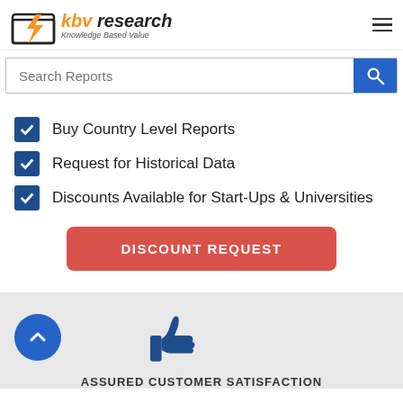[Figure (logo): KBV Research logo with orange lightning bolt icon and text 'kbv research — Knowledge Based Value']
Search Reports
Buy Country Level Reports
Request for Historical Data
Discounts Available for Start-Ups & Universities
DISCOUNT REQUEST
[Figure (illustration): Blue circle with upward chevron arrow (scroll-to-top button) and blue thumbs-up icon]
ASSURED CUSTOMER SATISFACTION